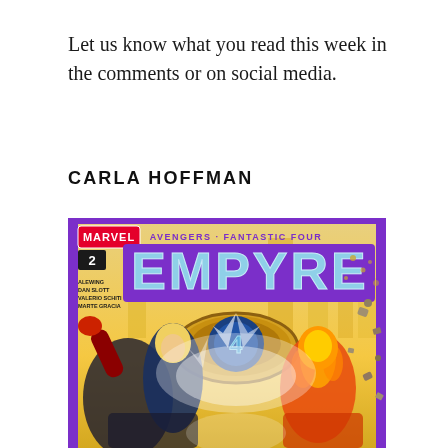Let us know what you read this week in the comments or on social media.
CARLA HOFFMAN
[Figure (illustration): Comic book cover for Marvel's Empyre #2 (Avengers / Fantastic Four), showing superhero characters including a flying female hero, The Thing, Human Torch on fire, Captain America's shield merged with Fantastic Four logo, against a golden city background. Credits: Al Ewing, Dan Slott, Valerio Schiti, Marte Gracia.]